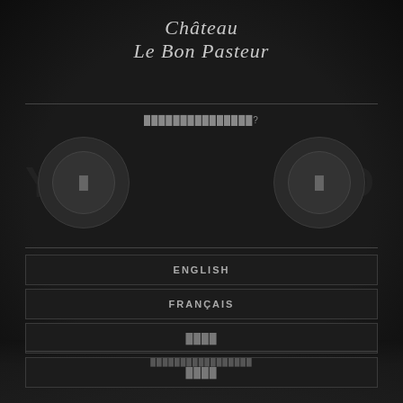Château Le Bon Pasteur
■■■■■■■■■■■■■■■?
[Figure (illustration): Two circular dark buttons for age verification (YES/NO), with large faded background text]
ENGLISH
FRANÇAIS
■■■■
■■■■
■■■■■■■■■■■■■■■■■